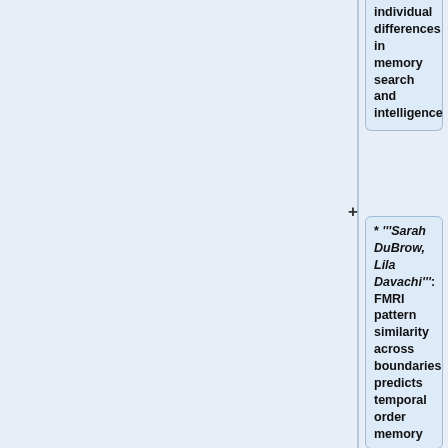individual differences in memory search and intelligence
* '''Sarah DuBrow, Lila Davachi''': FMRI pattern similarity across boundaries predicts temporal order memory
* '''Jeffrey A. Greenberg, John F. Burke, Michael J. Kahana''': Human electrocorticogr